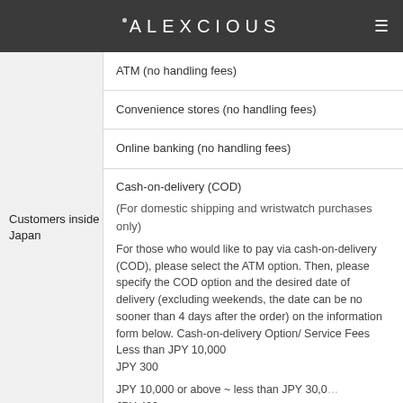ALEXCIOUS
|  | Payment Methods |
| --- | --- |
|  | ATM (no handling fees) |
|  | Convenience stores (no handling fees) |
|  | Online banking (no handling fees) |
| Customers inside Japan | Cash-on-delivery (COD)
(For domestic shipping and wristwatch purchases only)
For those who would like to pay via cash-on-delivery (COD), please select the ATM option. Then, please specify the COD option and the desired date of delivery (excluding weekends, the date can be no sooner than 4 days after the order) on the information form below. Cash-on-delivery Option/ Service Fees
Less than JPY 10,000
JPY 300
JPY 10,000 or above ~ less than JPY 30,000
JPY 400 |